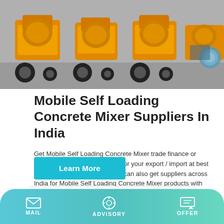[Figure (photo): Photo of orange mobile self-loading concrete mixers parked in a warehouse/industrial setting, with wheels and mechanical components visible. A blue coiled hose is visible on the right side.]
Mobile Self Loading Concrete Mixer Suppliers In India
Get Mobile Self Loading Concrete Mixer trade finance or working capital from overseas for your export / import at best terms with Connect2India. You can also get suppliers across India for Mobile Self Loading Concrete Mixer products with their company profile,office addresses, contact details, phone numbers and email addresses.
Learn More
MAIL   ADVISORY   OFFER